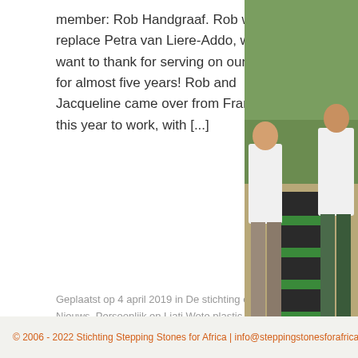member: Rob Handgraaf. Rob will replace Petra van Liere-Addo, who we want to thank for serving on our board for almost five years! Rob and Jacqueline came over from France early this year to work, with [...]
Geplaatst op 4 april 2019 in De stichting en bestuur, Nieuws, Persoonlijk en Liati Wote plastic waste project.
[Figure (photo): Two people in white t-shirts standing next to a large black barrel/container with green stripes, outdoors on a gravel path with green foliage in the background.]
« Oudere artikelen
© 2006 - 2022 Stichting Stepping Stones for Africa | info@steppingstonesforafrica...